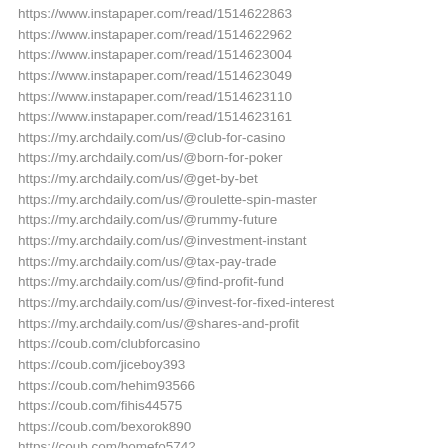https://www.instapaper.com/read/1514622863
https://www.instapaper.com/read/1514622962
https://www.instapaper.com/read/1514623004
https://www.instapaper.com/read/1514623049
https://www.instapaper.com/read/1514623110
https://www.instapaper.com/read/1514623161
https://my.archdaily.com/us/@club-for-casino
https://my.archdaily.com/us/@born-for-poker
https://my.archdaily.com/us/@get-by-bet
https://my.archdaily.com/us/@roulette-spin-master
https://my.archdaily.com/us/@rummy-future
https://my.archdaily.com/us/@investment-instant
https://my.archdaily.com/us/@tax-pay-trade
https://my.archdaily.com/us/@find-profit-fund
https://my.archdaily.com/us/@invest-for-fixed-interest
https://my.archdaily.com/us/@shares-and-profit
https://coub.com/clubforcasino
https://coub.com/jiceboy393
https://coub.com/hehim93566
https://coub.com/fihis44575
https://coub.com/bexorok890
https://coub.com/bomefo5742
https://coub.com/lapaho1529
https://coub.com/poled74458
https://coub.com/wosinew841
https://coub.com/xopaco3423
https://www.rwis.com/pomdata/rwis_web_QuiciWebManagerStepModuleTy...